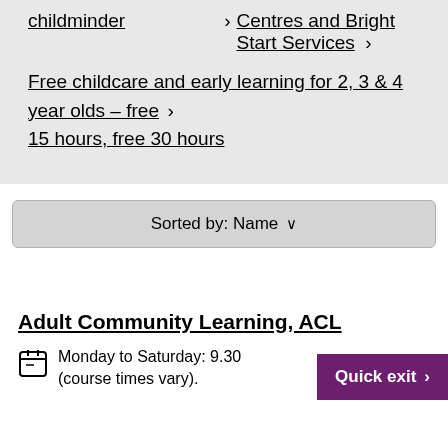childminder
Centres and Bright Start Services
Free childcare and early learning for 2, 3 & 4 year olds - free 15 hours, free 30 hours
Sorted by: Name
Adult Community Learning, ACL
Monday to Saturday: 9.30 (course times vary).
Quick exit >